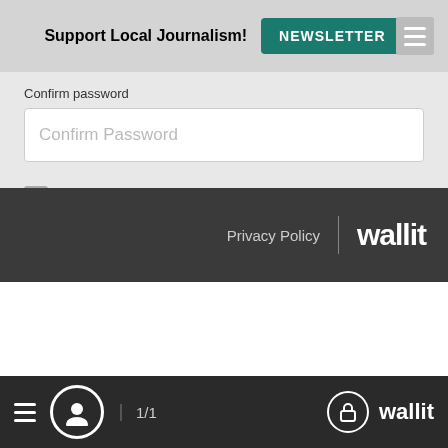Support Local Journalism! NEWSLETTER
Confirm password
[Figure (screenshot): Text input field with placeholder text 'Confirm Password']
I agree to the Terms and Conditions
[Figure (screenshot): Create Account button (blue rounded rectangle)]
Log In
Privacy Policy | wallit
≡  👤  1/1  🔒 wallit